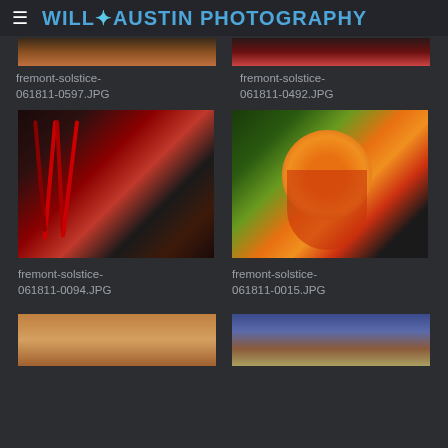WILL AUSTIN PHOTOGRAPHY
[Figure (photo): Partial top strip of a photo - fremont-solstice-061811-0597.JPG]
fremont-solstice-061811-0597.JPG
[Figure (photo): Partial top strip of a photo - fremont-solstice-061811-0492.JPG]
fremont-solstice-061811-0492.JPG
[Figure (photo): Woman with red and black braids, theatrical makeup - fremont-solstice-061811-0094.JPG]
fremont-solstice-061811-0094.JPG
[Figure (photo): Woman with orange hair and red paint/blood on face and chest - fremont-solstice-061811-0015.JPG]
fremont-solstice-061811-0015.JPG
[Figure (photo): Partial bottom strip of a photo, woman's profile]
[Figure (photo): Partial bottom strip of a photo, people in costumes]